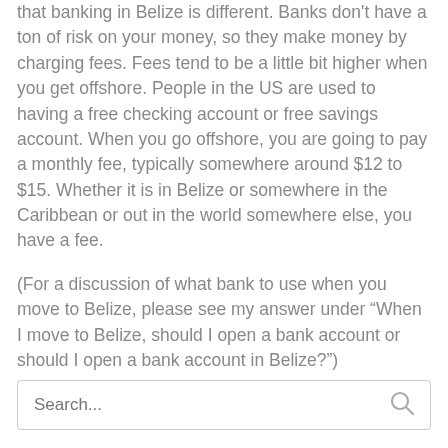that banking in Belize is different. Banks don't have a ton of risk on your money, so they make money by charging fees. Fees tend to be a little bit higher when you get offshore. People in the US are used to having a free checking account or free savings account.  When you go offshore, you are going to pay a monthly fee, typically somewhere around $12 to $15.  Whether it is in Belize or somewhere in the Caribbean or out in the world somewhere else, you have a fee.
(For a discussion of what bank to use when you move to Belize, please see my answer under “When I move to Belize, should I open a bank account or should I open a bank account in Belize?”)
xxx